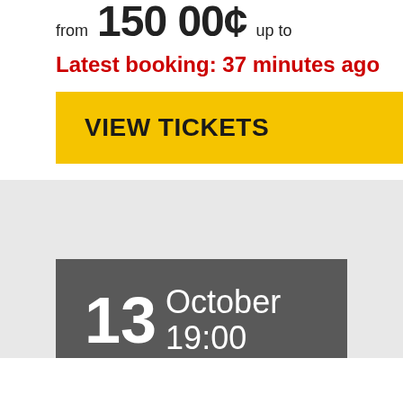from 150 00¢ up to
Latest booking: 37 minutes ago
VIEW TICKETS
13 October 19:00